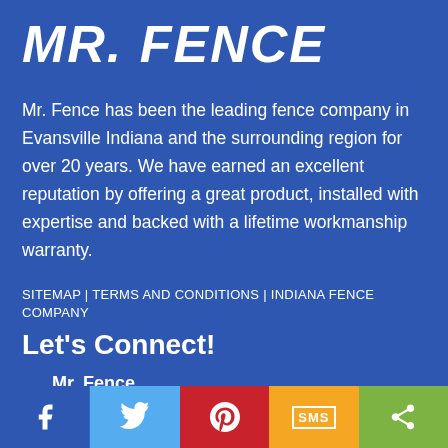MR. FENCE
Mr. Fence has been the leading fence company in Evansville Indiana and the surrounding region for over 20 years. We have earned an excellent reputation by offering a great product, installed with expertise and backed with a lifetime workmanship warranty.
SITEMAP | TERMS AND CONDITIONS | INDIANA FENCE COMPANY
Let's Connect!
Mr. Fence
1804 N Burkhardt Rd
Evansville, IN 47715